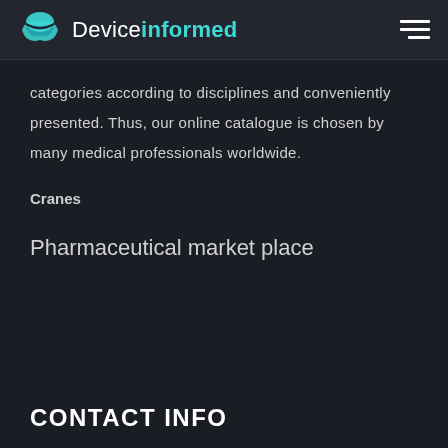Deviceinformed
categories according to disciplines and conveniently presented. Thus, our online catalogue is chosen by many medical professionals worldwide.
Cranes
Pharmaceutical market place
CONTACT INFO